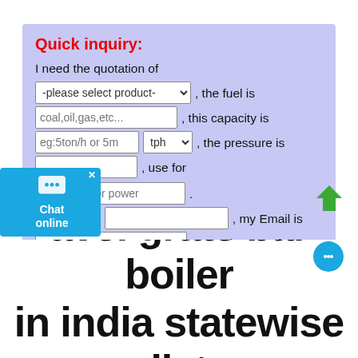Quick inquiry:
I need the quotation of -please select product- , the fuel is coal,oil,gas,etc... , this capacity is eg:5ton/h or 5m tph , the pressure is , use for eg:heating or power . My Name is , my Email is , my WhatsApp is , Please Send the detail information for me! submit
travel grate bar boiler in india statewise list